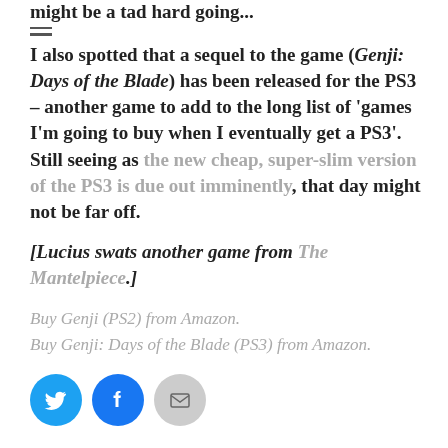might be a tad hard going...
I also spotted that a sequel to the game (Genji: Days of the Blade) has been released for the PS3 – another game to add to the long list of 'games I'm going to buy when I eventually get a PS3'. Still seeing as the new cheap, super-slim version of the PS3 is due out imminently, that day might not be far off.
[Lucius swats another game from The Mantelpiece.]
Buy Genji (PS2) from Amazon.
Buy Genji: Days of the Blade (PS3) from Amazon.
[Figure (infographic): Social sharing buttons: Twitter (blue circle), Facebook (blue circle), Email (gray circle)]
[Figure (infographic): Like button with star icon, followed by two blogger avatar thumbnails (pixel art game character and green pixel art)]
2 bloggers like this.